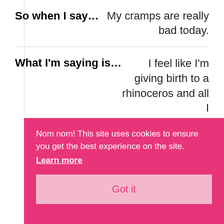So when I say…   My cramps are really bad today.
What I'm saying is…   I feel like I'm giving birth to a rhinoceros and all I can do is feel it. I need to stay home today, so I can rest.
Nom nom! This site uses cookies to ensure you get the best experience on the site.
Learn more
Got it